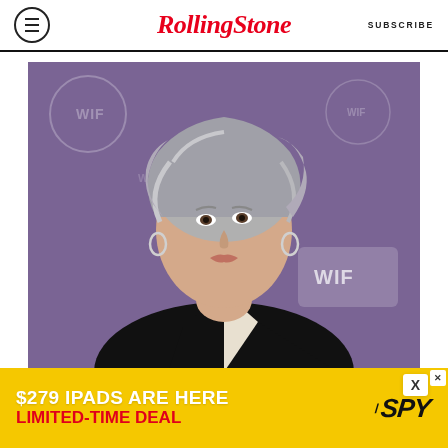RollingStone | SUBSCRIBE
[Figure (photo): Jane Fonda with silver-gray hair wearing a black and white blazer, posing in front of a purple WIF (Women in Film) backdrop]
CANCER BATTLE
[Figure (other): Advertisement banner: $279 IPADS ARE HERE LIMITED-TIME DEAL / SPY logo on yellow background]